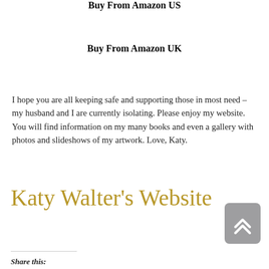Buy From Amazon US
Buy From Amazon UK
I hope you are all keeping safe and supporting those in most need – my husband and I are currently isolating. Please enjoy my website. You will find information on my many books and even a gallery with photos and slideshows of my artwork. Love, Katy.
Katy Walter's Website
Share this: